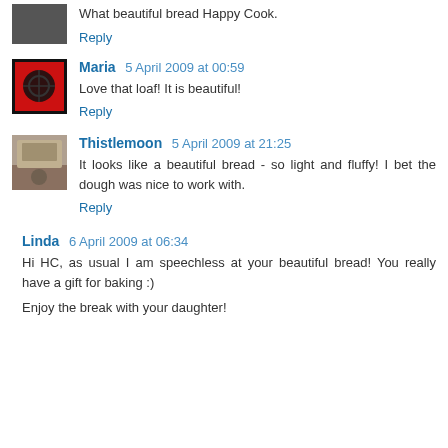What beautiful bread Happy Cook.
Reply
Maria 5 April 2009 at 00:59
Love that loaf! It is beautiful!
Reply
Thistlemoon 5 April 2009 at 21:25
It looks like a beautiful bread - so light and fluffy! I bet the dough was nice to work with.
Reply
Linda 6 April 2009 at 06:34
Hi HC, as usual I am speechless at your beautiful bread! You really have a gift for baking :)
Enjoy the break with your daughter!